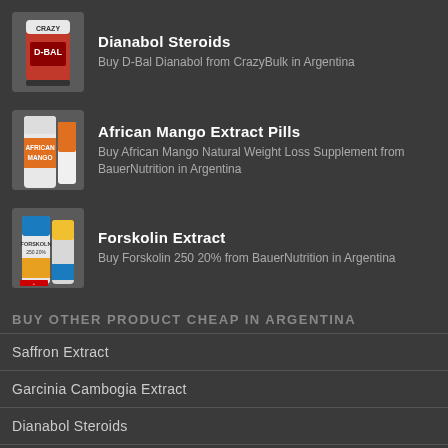[Figure (photo): Red supplement bottle labeled D-BAL CrazyBulk]
Dianabol Steroids
Buy D-Bal Dianabol from CrazyBulk in Argentina
[Figure (photo): Supplement bottle labeled African Mango with orange and white design]
African Mango Extract Pills
Buy African Mango Natural Weight Loss Supplement from BauerNutrition in Argentina
[Figure (photo): Supplement bottles labeled Forskolin 250 20% with blue and yellow design]
Forskolin Extract
Buy Forskolin 250 20% from BauerNutrition in Argentina
BUY OTHER PRODUCT CHEAP IN ARGENTINA
Saffron Extract
Garcinia Cambogia Extract
Dianabol Steroids
African Mango Extract Pills